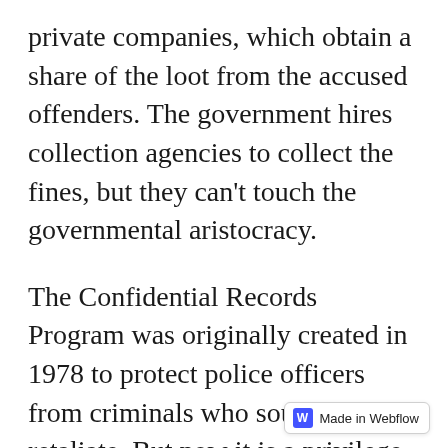private companies, which obtain a share of the loot from the accused offenders. The government hires collection agencies to collect the fines, but they can't touch the governmental aristocracy.
The Confidential Records Program was originally created in 1978 to protect police officers from criminals who sought to retaliate. But now it is a privilege granted to state officials to avoid having to pay the fines that the proletarians have to pay when they cross a red light, and also to avoid highway tolls.
These special license plates often also